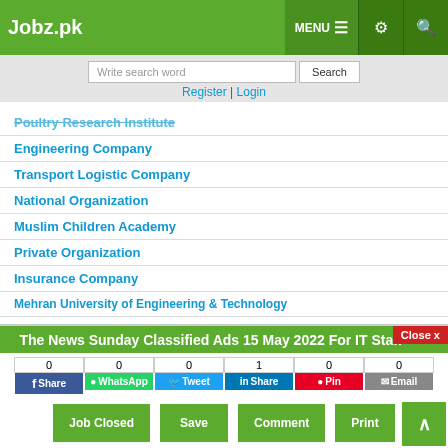Jobz.pk | MENU | settings | search
Write search word | Search | Register | Login
Poultry Research Institute
Engineering Company
Transport Logistic Company
National Organization
Muslim Children Academy
Private Organization
Insurance Company
Mehran University of Engineering & Technology
Indus School System
MMP Pakistan Pvt Ltd
The News Sunday Classified Ads 15 May 2022 For IT Staff
Share counts: 0 (Facebook), 0 (WhatsApp), 0 (Tweet), 1 (LinkedIn Share), 0 (Pin), 0 (Email)
Job Closed | Save | Comment | Print | Close x